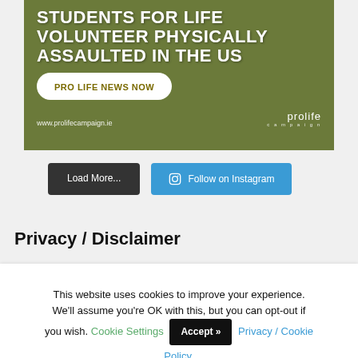[Figure (illustration): Olive-green tinted image with bold white headline text 'STUDENTS FOR LIFE VOLUNTEER PHYSICALLY ASSAULTED IN THE US', a white pill-shaped button labeled 'PRO LIFE NEWS NOW', URL 'www.prolifecampaign.ie', and 'prolife campaign' logo in the lower right.]
Load More...
Follow on Instagram
Privacy / Disclaimer
This website uses cookies to improve your experience. We'll assume you're OK with this, but you can opt-out if you wish. Cookie Settings  Accept >>  Privacy / Cookie Policy.